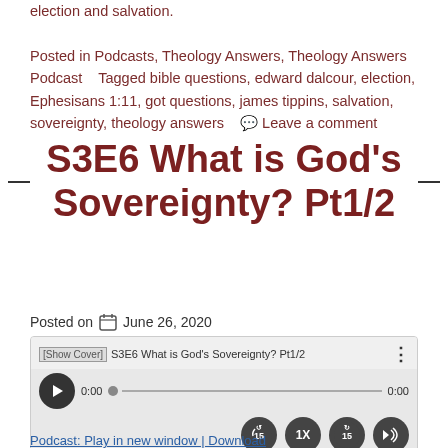election and salvation.

Posted in Podcasts, Theology Answers, Theology Answers Podcast   Tagged bible questions, edward dalcour, election, Ephesisans 1:11, got questions, james tippins, salvation, sovereignty, theology answers   💬 Leave a comment
S3E6 What is God's Sovereignty? Pt1/2
Posted on 📅 June 26, 2020
[Figure (screenshot): Podcast audio player for S3E6 What is God's Sovereignty? Pt1/2 with play button, progress bar, skip controls (15s back, 1x speed, 15s forward), volume button, and action bar with Shownotes, Download, Subscribe, Share buttons.]
Podcast: Play in new window | Download